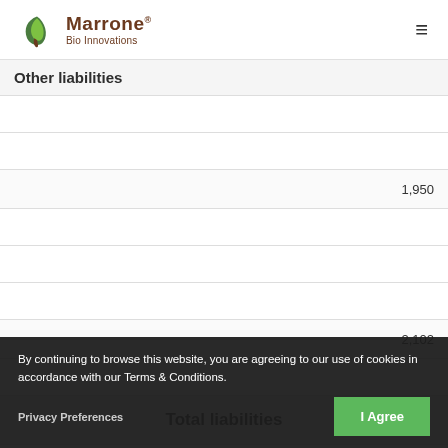Marrone Bio Innovations
|  | Value |
| --- | --- |
| Other liabilities |  |
|  |  |
|  |  |
|  | 1,950 |
|  |  |
|  |  |
|  |  |
|  | 2,102 |
|  |  |
| Total liabilities |  |
|  | 51,113 |